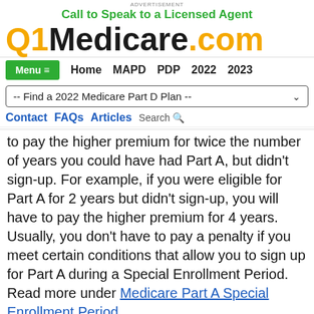Advertisement
Call to Speak to a Licensed Agent
Q1Medicare.com
Menu Home MAPD PDP 2022 2023
-- Find a 2022 Medicare Part D Plan --
Contact FAQs Articles Search
to pay the higher premium for twice the number of years you could have had Part A, but didn't sign-up. For example, if you were eligible for Part A for 2 years but didn't sign-up, you will have to pay the higher premium for 4 years. Usually, you don't have to pay a penalty if you meet certain conditions that allow you to sign up for Part A during a Special Enrollment Period. Read more under Medicare Part A Special Enrollment Period.